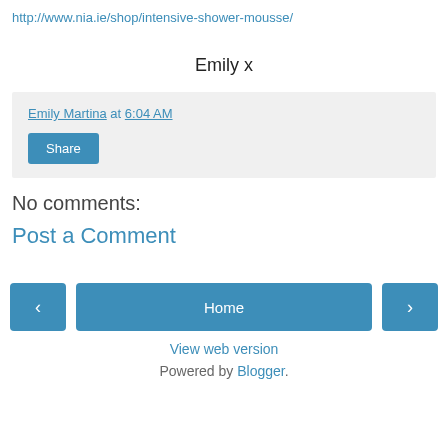http://www.nia.ie/shop/intensive-shower-mousse/
Emily x
Emily Martina at 6:04 AM
Share
No comments:
Post a Comment
< Home >
View web version
Powered by Blogger.